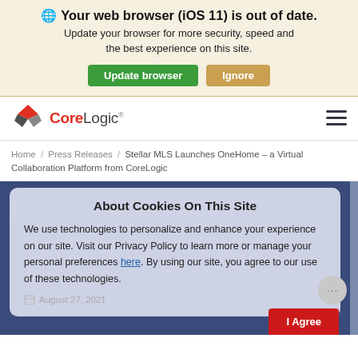🌐 Your web browser (iOS 11) is out of date. Update your browser for more security, speed and the best experience on this site.
[Figure (screenshot): Two buttons: green 'Update browser' and tan/gold 'Ignore']
[Figure (logo): CoreLogic logo with red and gray diamond shapes]
Home / Press Releases / Stellar MLS Launches OneHome – a Virtual Collaboration Platform from CoreLogic
About Cookies On This Site
We use technologies to personalize and enhance your experience on our site. Visit our Privacy Policy to learn more or manage your personal preferences here. By using our site, you agree to our use of these technologies.
August 27, 2021